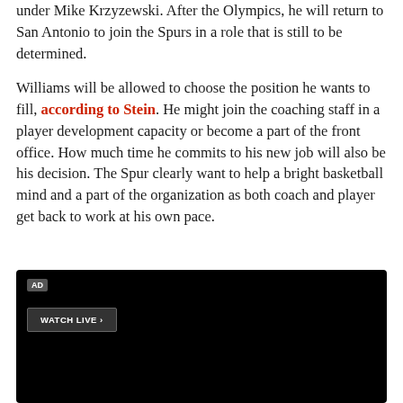under Mike Krzyzewski. After the Olympics, he will return to San Antonio to join the Spurs in a role that is still to be determined.
Williams will be allowed to choose the position he wants to fill, according to Stein. He might join the coaching staff in a player development capacity or become a part of the front office. How much time he commits to his new job will also be his decision. The Spur clearly want to help a bright basketball mind and a part of the organization as both coach and player get back to work at his own pace.
[Figure (other): Advertisement block with black background, AD label, and WATCH LIVE button]